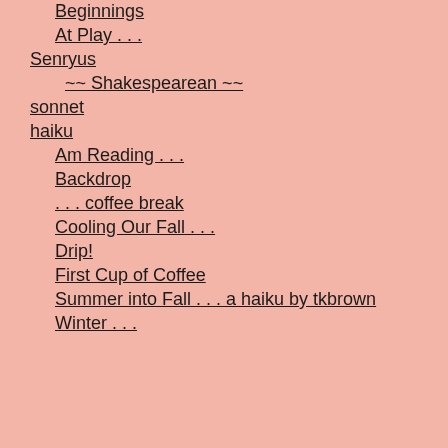Beginnings
At Play . . .
Senryus
~~ Shakespearean ~~
sonnet
haiku
Am Reading . . .
Backdrop
. . . coffee break
Cooling Our Fall . . .
Drip!
First Cup of Coffee
Summer into Fall . . . a haiku by tkbrown
Winter . . . a haiku by tkbrown